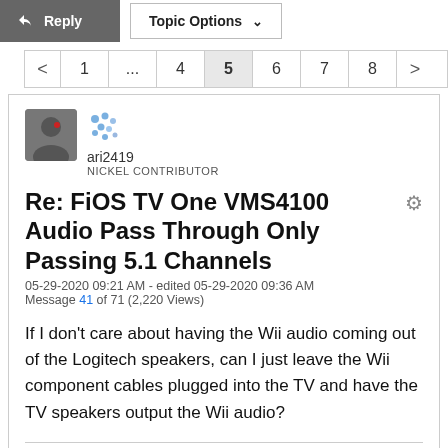Reply | Topic Options
< 1 ... 4 5 6 7 8 >
ari2419
NICKEL CONTRIBUTOR
Re: FiOS TV One VMS4100 Audio Pass Through Only Passing 5.1 Channels
05-29-2020 09:21 AM - edited 05-29-2020 09:36 AM
Message 41 of 71 (2,220 Views)
If I don't care about having the Wii audio coming out of the Logitech speakers, can I just leave the Wii component cables plugged into the TV and have the TV speakers output the Wii audio?
0 Kudos